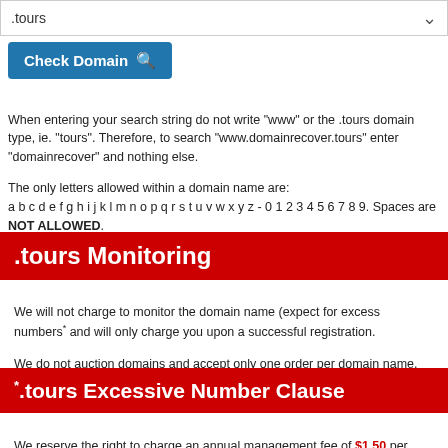[Figure (screenshot): Dropdown selector showing '.tours' domain option with chevron arrow]
[Figure (screenshot): Blue 'Check Domain' button with search icon]
When entering your search string do not write "www" or the .tours domain type, ie. "tours". Therefore, to search "www.domainrecover.tours" enter "domainrecover" and nothing else.

The only letters allowed within a domain name are:
a b c d e f g h i j k l m n o p q r s t u v w x y z - 0 1 2 3 4 5 6 7 8 9. Spaces are NOT ALLOWED.
.tours Monitoring
We will not charge to monitor the domain name (expect for excess numbers* and will only charge you upon a successful registration.

We do not auction domains and accept only one order per domain name.
*.tours Excessive Number Clause
We reserve the right to charge an annual management fee of $1.50 per domain name requested per year where, if in our opinion the number of names being monitored in an account is excessive (over 300 domains).